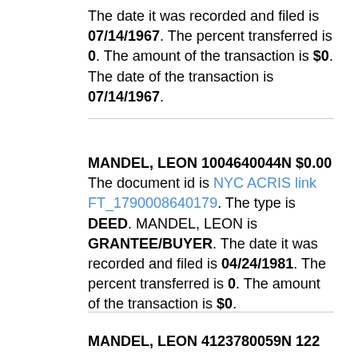The date it was recorded and filed is 07/14/1967. The percent transferred is 0. The amount of the transaction is $0. The date of the transaction is 07/14/1967.
MANDEL, LEON 1004640044N $0.00 The document id is NYC ACRIS link FT_1790008640179. The type is DEED. MANDEL, LEON is GRANTEE/BUYER. The date it was recorded and filed is 04/24/1981. The percent transferred is 0. The amount of the transaction is $0.
MANDEL, LEON 4123780059N 122